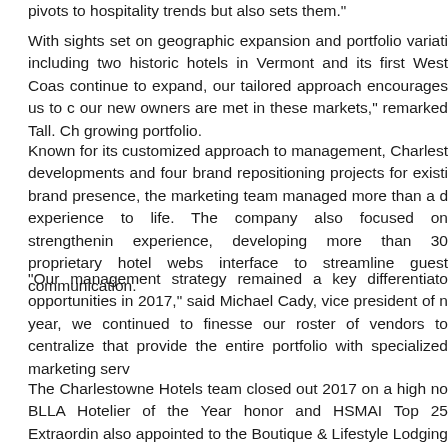pivots to hospitality trends but also sets them."
With sights set on geographic expansion and portfolio variation, including two historic hotels in Vermont and its first West Coast, continue to expand, our tailored approach encourages us to continue our new owners are met in these markets," remarked Tall. Ch growing portfolio.
Known for its customized approach to management, Charlest developments and four brand repositioning projects for existing brand presence, the marketing team managed more than a d experience to life. The company also focused on strengthening experience, developing more than 30 proprietary hotel webs interface to streamline guest communication.
"Our management strategy remained a key differentiato opportunities in 2017," said Michael Cady, vice president of year, we continued to finesse our roster of vendors to centralize that provide the entire portfolio with specialized marketing serv
The Charlestowne Hotels team closed out 2017 on a high n BLLA Hotelier of the Year honor and HSMAI Top 25 Extraordin also appointed to the Boutique & Lifestyle Lodging Associatio